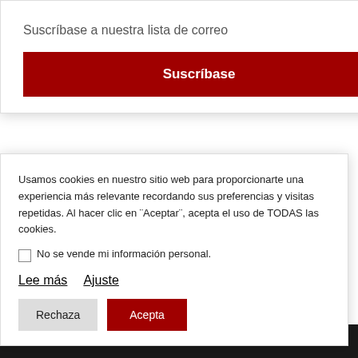Suscríbase a nuestra lista de correo
Suscríbase
permanece detenida
El 6 de junio de 2018, cuatro cristianos de una iglesia ... vincia de ... sus hogares ... ellos todaví...
Usamos cookies en nuestro sitio web para proporcionarte una experiencia más relevante recordando sus preferencias y visitas repetidas. Al hacer clic en ¨Aceptar¨, acepta el uso de TODAS las cookies.
No se vende mi información personal.
Lee más   Ajuste
Rechaza
Acepta
CONSEJO EDITORIAL